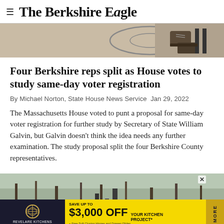The Berkshire Eagle
[Figure (photo): Partial photo showing boots/feet on a basketball court floor, cropped at top of page]
Four Berkshire reps split as House votes to study same-day voter registration
By Michael Norton, State House News Service  Jan 29, 2022
The Massachusetts House voted to punt a proposal for same-day voter registration for further study by Secretary of State William Galvin, but Galvin doesn't think the idea needs any further examination. The study proposal split the four Berkshire County representatives.
[Figure (photo): Winter outdoor scene with bare trees and snow, appears to show a road or path]
[Figure (advertisement): Revelare Kitchens advertisement: Save up to $3,000 OFF your kitchen project + Free Soft Closing Hinges and Drawer Glides]